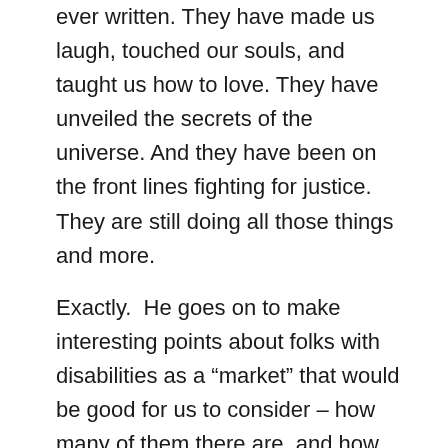ever written. They have made us laugh, touched our souls, and taught us how to love. They have unveiled the secrets of the universe. And they have been on the front lines fighting for justice. They are still doing all those things and more.
Exactly.  He goes on to make interesting points about folks with disabilities as a “market” that would be good for us to consider – how many of them there are, and how many of them have networks around them that are also believers in what they bring to us and in their capacity to change the world.
He makes a few claims about his intended